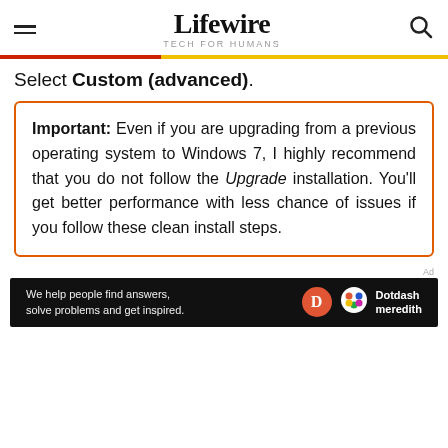Lifewire — TECH FOR HUMANS
Select Custom (advanced).
Important: Even if you are upgrading from a previous operating system to Windows 7, I highly recommend that you do not follow the Upgrade installation. You'll get better performance with less chance of issues if you follow these clean install steps.
[Figure (other): Dotdash Meredith advertisement banner: 'We help people find answers, solve problems and get inspired.' with Dotdash and Meredith logos.]